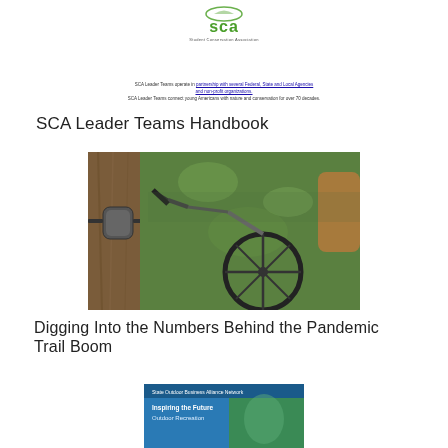[Figure (logo): SCA Student Conservation Association logo — 'sca' in green letters with leaf motif, 'Student Conservation Association' text below]
SCA Leader Teams operate in partnership with several Federal, State and Local Agencies and non-profit organizations. SCA Leader Teams connect young Americans with nature and conservation for over 70 decades.
SCA Leader Teams Handbook
[Figure (photo): Close-up photo of a mountain biker speeding past a tree with a trail counter device attached to it in a green forest setting]
Digging Into the Numbers Behind the Pandemic Trail Boom
[Figure (photo): Partial view of a booklet or report cover reading 'State Outdoor Business Alliance Network' and 'Inspiring the Future Outdoor Recreation']